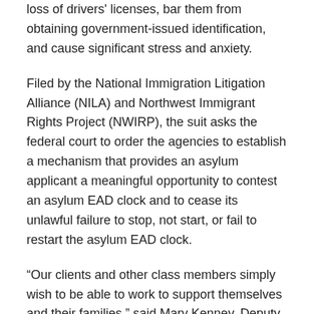loss of drivers' licenses, bar them from obtaining government-issued identification, and cause significant stress and anxiety.
Filed by the National Immigration Litigation Alliance (NILA) and Northwest Immigrant Rights Project (NWIRP), the suit asks the federal court to order the agencies to establish a mechanism that provides an asylum applicant a meaningful opportunity to contest an asylum EAD clock and to cease its unlawful failure to stop, not start, or fail to restart the asylum EAD clock.
“Our clients and other class members simply wish to be able to work to support themselves and their families,” said Mary Kenney, Deputy Director of NILA. “This lawsuit seeks to strike down Defendants’ unlawful and arbitrary policies which prevent them from doing so.”
“There is no legal basis to deprive these asylum seekers of the right to work to support themselves and their family members while often forced to wait years for the agency to decide